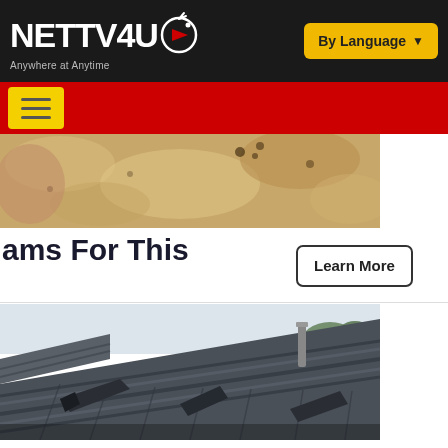NETTV4U — Anywhere at Anytime | By Language
[Figure (screenshot): NETTV4U website header with logo on dark background and yellow 'By Language' dropdown button on right, followed by red navigation bar with yellow hamburger menu button]
[Figure (photo): Partial view of a sandy/textured surface, cropped at top portion of page below nav]
ams For This
Learn More
[Figure (photo): Black and white photograph of a damaged roof with missing and displaced shingles, showing structural damage]